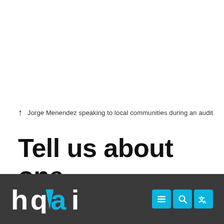↑ Jorge Menendez speaking to local communities during an audit
Tell us about one challenge you faced and how you overcame it
[Figure (logo): hqai logo in white and cyan on dark grey footer bar, with navigation icons (menu, search, translate) in cyan buttons on the right]